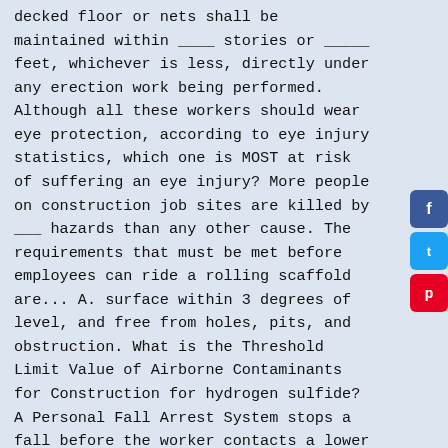decked floor or nets shall be maintained within ____ stories or _____ feet, whichever is less, directly under any erection work being performed. Although all these workers should wear eye protection, according to eye injury statistics, which one is MOST at risk of suffering an eye injury? More people on construction job sites are killed by ___ hazards than any other cause. The requirements that must be met before employees can ride a rolling scaffold are... A. surface within 3 degrees of level, and free from holes, pits, and obstruction. What is the Threshold Limit Value of Airborne Contaminants for Construction for hydrogen sulfide? A Personal Fall Arrest System stops a fall before the worker contacts a lower level. This guardrail is constructed out of 4" Schedule 80 6" Schedule 40. What precautions must be taken with cabinets, fittings, boxes, panel board enclosures when located in damp or wet areas? The ladder is made out of high-strength fiberglass resin composite that is non-conductive. No more than _____ gallons of flammable or